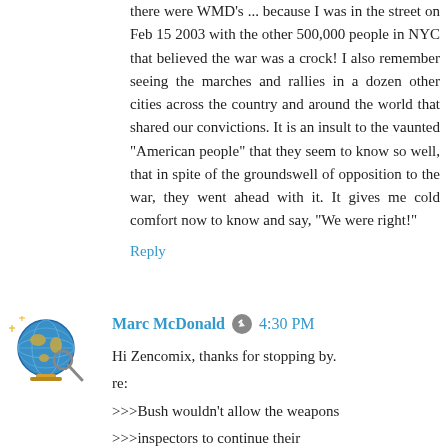there were WMD's ... because I was in the street on Feb 15 2003 with the other 500,000 people in NYC that believed the war was a crock! I also remember seeing the marches and rallies in a dozen other cities across the country and around the world that shared our convictions. It is an insult to the vaunted "American people" that they seem to know so well, that in spite of the groundswell of opposition to the war, they went ahead with it. It gives me cold comfort now to know and say, "We were right!"
Reply
[Figure (illustration): Globe avatar icon with magnifying glass and sparkles]
Marc McDonald  4:30 PM
Hi Zencomix, thanks for stopping by.
re:
>>>Bush wouldn't allow the weapons
>>>inspectors to continue their
>>>work, and insisted on invading.

Good point. I still see right-wingers making the false claim that Saddam wouldn't allow the WMD inspectors to do their job and that's why Bush ordered the invasion.